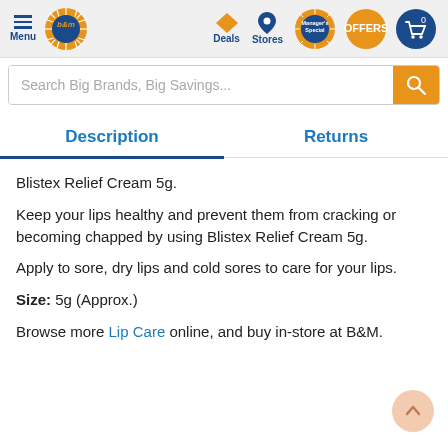B&M store navigation header with Menu, logo, Deals, Stores, Manager's Special, OFFERS, and cart (0)
Search Big Brands, Big Savings...
Description | Returns
Blistex Relief Cream 5g.
Keep your lips healthy and prevent them from cracking or becoming chapped by using Blistex Relief Cream 5g.
Apply to sore, dry lips and cold sores to care for your lips.
Size: 5g (Approx.)
Browse more Lip Care online, and buy in-store at B&M.